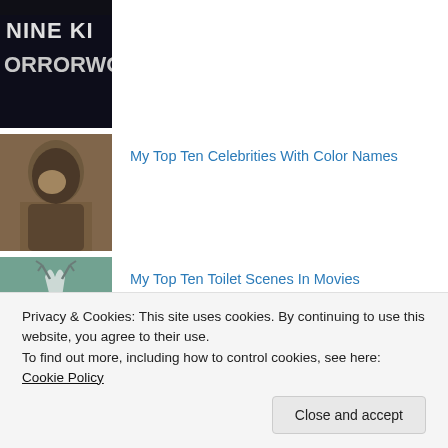[Figure (photo): Cropped top portion of a horror movie thumbnail showing partial text 'NINE KI' and 'ORRORWO' on dark background]
My Top Ten Celebrities With Color Names
My Top Ten Toilet Scenes In Movies
My Top Ten Swimming Pool Scenes In Movies
Privacy & Cookies: This site uses cookies. By continuing to use this website, you agree to their use.
To find out more, including how to control cookies, see here: Cookie Policy
Close and accept